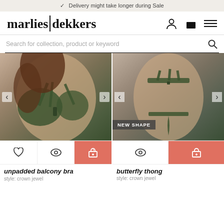✓ Delivery might take longer during Sale
marlies|dekkers
Search for collection, product or keyword
[Figure (photo): Model wearing dark green unpadded balcony bra, front view, with navigation arrows on both sides]
[Figure (photo): Model wearing dark green butterfly thong, back view, with NEW SHAPE badge overlay and navigation arrows]
unpadded balcony bra
style: crown jewel
butterfly thong
style: crown jewel